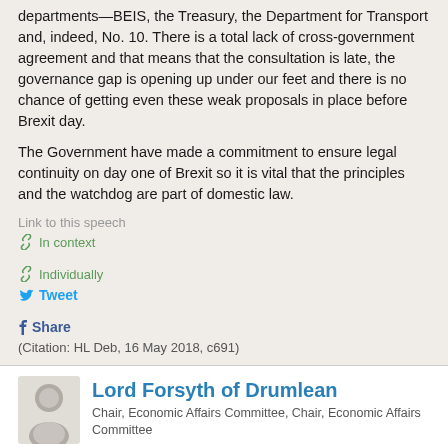departments—BEIS, the Treasury, the Department for Transport and, indeed, No. 10. There is a total lack of cross-government agreement and that means that the consultation is late, the governance gap is opening up under our feet and there is no chance of getting even these weak proposals in place before Brexit day.
The Government have made a commitment to ensure legal continuity on day one of Brexit so it is vital that the principles and the watchdog are part of domestic law.
Link to this speech
In context   Individually
Tweet  Share
(Citation: HL Deb, 16 May 2018, c691)
Lord Forsyth of Drumlean
Chair, Economic Affairs Committee, Chair, Economic Affairs Committee
My Lords, I am most grateful to the noble Baroness for giving way. I am just contemplating the case that has been put for a really powerful watchdog to protect the environment. If we think, for example, of the